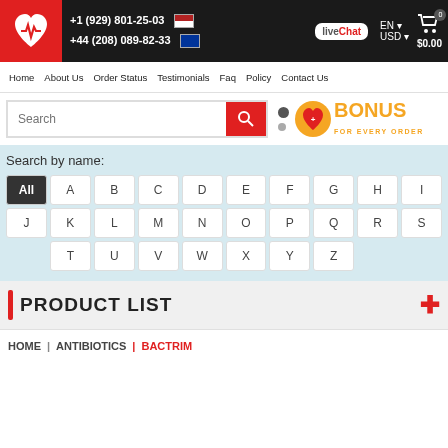[Figure (screenshot): E-commerce pharmacy website header with logo, phone numbers, live chat, language/currency selector, and cart]
+1 (929) 801-25-03  +44 (208) 089-82-33  liveChat  EN  USD  $0.00
Home  About Us  Order Status  Testimonials  Faq  Policy  Contact Us
Search  BONUS FOR EVERY ORDER
Search by name:
All A B C D E F G H I J K L M N O P Q R S T U V W X Y Z
PRODUCT LIST
HOME | ANTIBIOTICS | BACTRIM